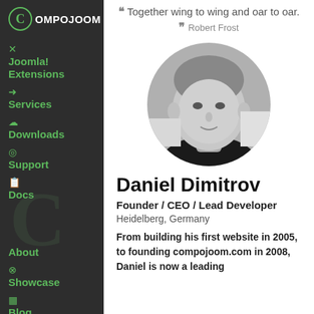[Figure (logo): Compojoom logo with circular C icon and text COMPOJOOM]
Joomla! Extensions
Services
Downloads
Support
Docs
About
Showcase
Blog
“Together wing to wing and oar to oar.” Robert Frost
[Figure (photo): Black and white circular portrait photo of Daniel Dimitrov]
Daniel Dimitrov
Founder / CEO / Lead Developer
Heidelberg, Germany
From building his first website in 2005, to founding compojoom.com in 2008, Daniel is now a leading